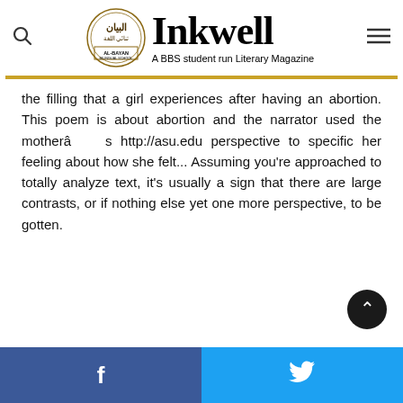[Figure (logo): Al-Bayan Bilingual School logo with circular Arabic calligraphy emblem and 'Inkwell – A BBS student run Literary Magazine' text]
the filling that a girl experiences after having an abortion. This poem is about abortion and the narrator used the motherâs http://asu.edu perspective to specific her feeling about how she felt... Assuming you're approached to totally analyze text, it's usually a sign that there are large contrasts, or if nothing else yet one more perspective, to be gotten.